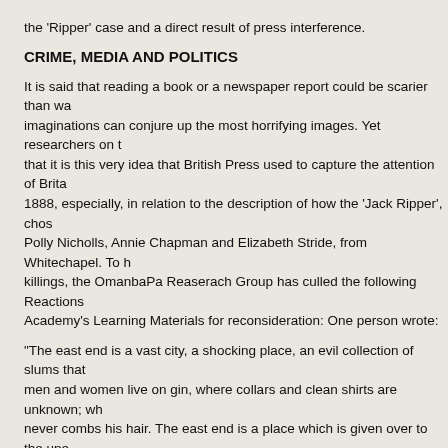the 'Ripper' case and a direct result of press interference.
CRIME, MEDIA AND POLITICS
It is said that reading a book or a newspaper report could be scarier than wa... imaginations can conjure up the most horrifying images. Yet researchers on t... that it is this very idea that British Press used to capture the attention of Brita... 1888, especially, in relation to the description of how the 'Jack Ripper', chos... Polly Nicholls, Annie Chapman and Elizabeth Stride, from Whitechapel. To h... killings, the OmanbaPa Reaserach Group has culled the following Reactions... Academy's Learning Materials for reconsideration: One person wrote:
“The east end is a vast city, a shocking place, an evil collection of slums that... men and women live on gin, where collars and clean shirts are unknown; wh... never combs his hair. The east end is a place which is given over to the une... room in these rotten and reeking tenements houses a family, often two. In o... finding a father, a mother, three children and four pigs. In another room a mi... wife just recovering from her fourth confinement, and the children running ab... are seven people living in one underground kitchen and a little dead child lyi... thoroughfares of Whitechapel are connected by a network of narrow, dark a... apparently containing some headquarters of infamy and where as it was the... apocalypse of evil.